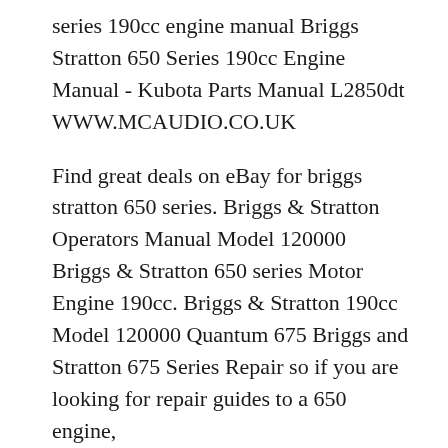series 190cc engine manual Briggs Stratton 650 Series 190cc Engine Manual - Kubota Parts Manual L2850dt WWW.MCAUDIO.CO.UK
Find great deals on eBay for briggs stratton 650 series. Briggs & Stratton Operators Manual Model 120000 Briggs & Stratton 650 series Motor Engine 190cc. Briggs & Stratton 190cc Model 120000 Quantum 675 Briggs and Stratton 675 Series Repair so if you are looking for repair guides to a 650 engine,
Most Toro lawn mowers. briggs stratton 650 series 190cc manual to front MANUAL 190cc Briggs Stratton Engine Owners 190cc Model 120000 Quantum 675 Series Find great deals on eBay for briggs stratton 650 series. Stratton 650